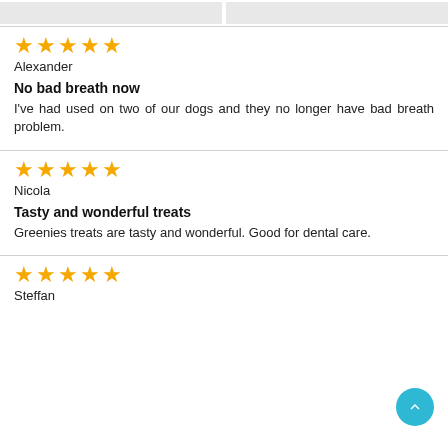[Figure (screenshot): Top navigation bar with two grey tab elements]
Alexander
No bad breath now
I've had used on two of our dogs and they no longer have bad breath problem.
Nicola
Tasty and wonderful treats
Greenies treats are tasty and wonderful. Good for dental care.
Steffan